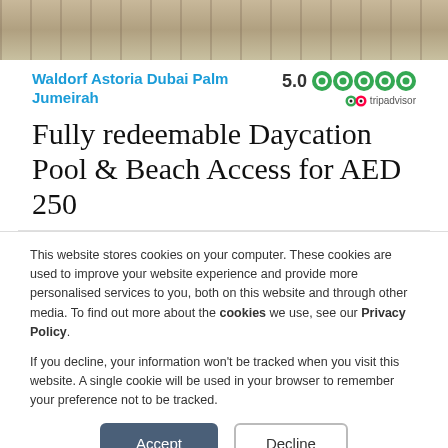[Figure (photo): Aerial/exterior photo of Waldorf Astoria Dubai Palm Jumeirah hotel with pool and beach area]
Waldorf Astoria Dubai Palm Jumeirah
5.0 (TripAdvisor rating, 5 circles)
Fully redeemable Daycation Pool & Beach Access for AED 250
This website stores cookies on your computer. These cookies are used to improve your website experience and provide more personalised services to you, both on this website and through other media. To find out more about the cookies we use, see our Privacy Policy.
If you decline, your information won't be tracked when you visit this website. A single cookie will be used in your browser to remember your preference not to be tracked.
Accept | Decline